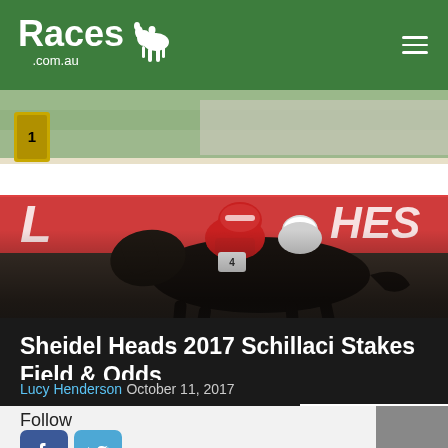Races .com.au
[Figure (photo): Horse race photo showing a dark horse with jockey in red and white silks racing at a track with red advertising banners in the background]
Sheidel Heads 2017 Schillaci Stakes Field & Odds
Lucy Henderson October 11, 2017
Follow